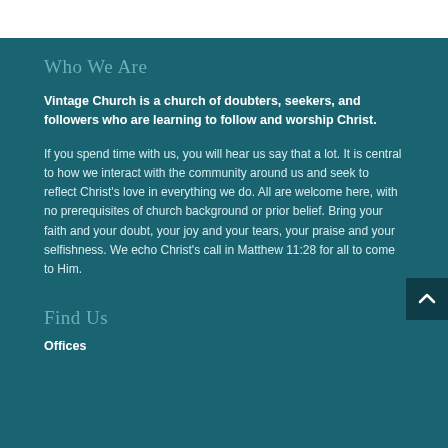Who We Are
Vintage Church is a church of doubters, seekers, and followers who are learning to follow and worship Christ.
If you spend time with us, you will hear us say that a lot. It is central to how we interact with the community around us and seek to reflect Christ's love in everything we do. All are welcome here, with no prerequisites of church background or prior belief. Bring your faith and your doubt, your joy and your tears, your praise and your selfishness. We echo Christ's call in Matthew 11:28 for all to come to Him.
Find Us
Offices